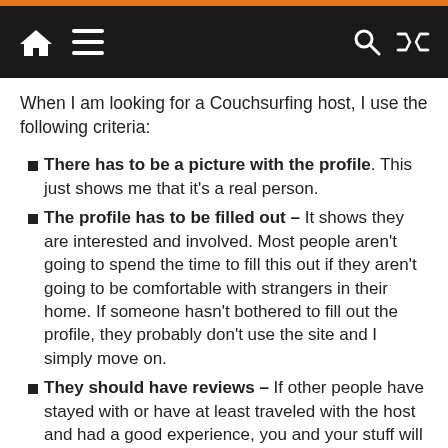Navigation bar with home, menu, search, and shuffle icons
When I am looking for a Couchsurfing host, I use the following criteria:
There has to be a picture with the profile. This just shows me that it's a real person.
The profile has to be filled out – It shows they are interested and involved. Most people aren't going to spend the time to fill this out if they aren't going to be comfortable with strangers in their home. If someone hasn't bothered to fill out the profile, they probably don't use the site and I simply move on.
They should have reviews – If other people have stayed with or have at least traveled with the host and had a good experience, you and your stuff will probably be fine. You might not get along with the host but at least you know they aren't a creep. The more positive reviews, the better.